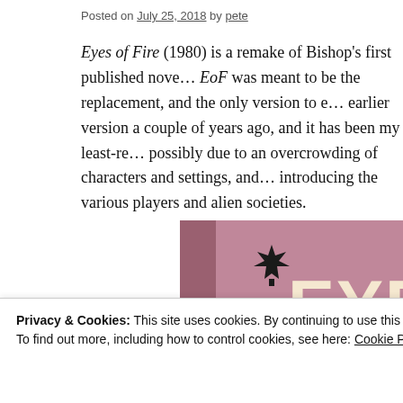Posted on July 25, 2018 by pete
Eyes of Fire (1980) is a remake of Bishop's first published nove... EoF was meant to be the replacement, and the only version to e... earlier version a couple of years ago, and it has been my least-re... possibly due to an overcrowding of characters and settings, and... introducing the various players and alien societies.
[Figure (photo): Book cover of 'Eyes of Fire' — a purple/pink book cover with 'SCIENCE FICTION' on the spine, a Canadian maple leaf logo, and large bold text reading 'EYES OF FIRE']
Privacy & Cookies: This site uses cookies. By continuing to use this website, you agree to their use.
To find out more, including how to control cookies, see here: Cookie Policy
Close and accept